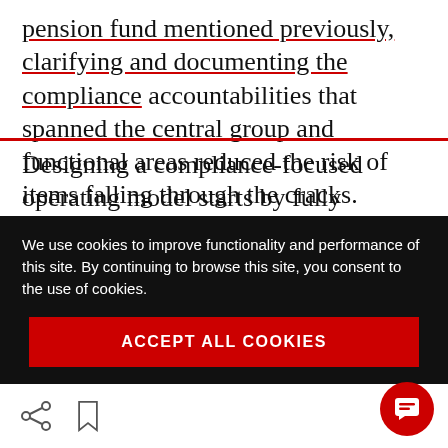pension fund mentioned previously, clarifying and documenting the compliance accountabilities that spanned the central group and functional areas reduced the risk of items falling through the cracks.
Designing a compliance-focused operating model starts by fully describing the compliance strategy requirements to the senior executive
We use cookies to improve functionality and performance of this site. By continuing to browse this site, you consent to the use of cookies.
ACCEPT ALL COOKIES